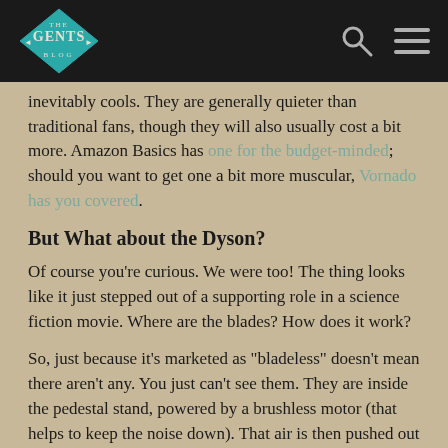THE GENTS BLOG
inevitably cools.  They are generally quieter than traditional fans, though they will also usually cost a bit more.  Amazon Basics has one for the budget-minded; should you want to get one a bit more muscular, Vornado has you covered.
But What about the Dyson?
Of course you're curious.  We were too!  The thing looks like it just stepped out of a supporting role in a science fiction movie.  Where are the blades?  How does it work?
So, just because it's marketed as "bladeless" doesn't mean there aren't any.  You just can't see them.  They are inside the pedestal stand, powered by a brushless motor (that helps to keep the noise down).  That air is then pushed out through small slits in the frame of the fan at a 16 degree down slope.  This, like air going over the wings of a plane, creates an up current and...